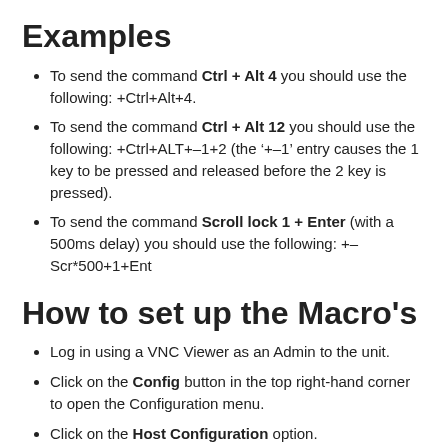Examples
To send the command Ctrl + Alt 4 you should use the following: +Ctrl+Alt+4.
To send the command Ctrl + Alt 12 you should use the following: +Ctrl+ALT+–1+2 (the '+–1' entry causes the 1 key to be pressed and released before the 2 key is pressed).
To send the command Scroll lock 1 + Enter (with a 500ms delay) you should use the following: +–Scr*500+1+Ent
How to set up the Macro's
Log in using a VNC Viewer as an Admin to the unit.
Click on the Config button in the top right-hand corner to open the Configuration menu.
Click on the Host Configuration option.
You will see a list of hosts, you can configure up to